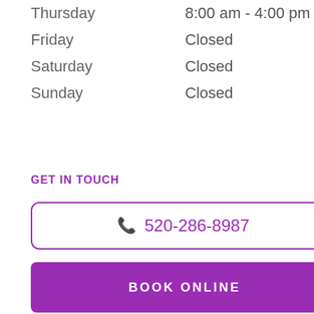| Thursday | 8:00 am - 4:00 pm |
| Friday | Closed |
| Saturday | Closed |
| Sunday | Closed |
GET IN TOUCH
📞 520-286-8987
BOOK ONLINE
[Figure (photo): Customer support representative avatar with teal circular background in bottom left corner]